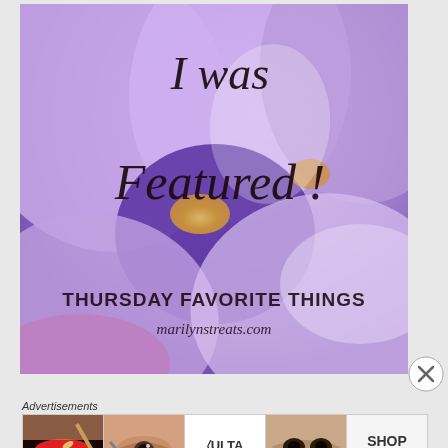[Figure (photo): Close-up photo of purple/lavender flowers (crocus or orchid) with text overlay: 'I was Featured!' in cursive script and 'THURSDAY FAVORITE THINGS' and 'marilynstreats.com' in dark text]
Advertisements
[Figure (photo): Advertisement banner showing four cosmetics/beauty images: red lips with makeup brush, woman's eye with brush, Ulta Beauty logo, woman's eyes with dark makeup; followed by a 'SHOP NOW' button]